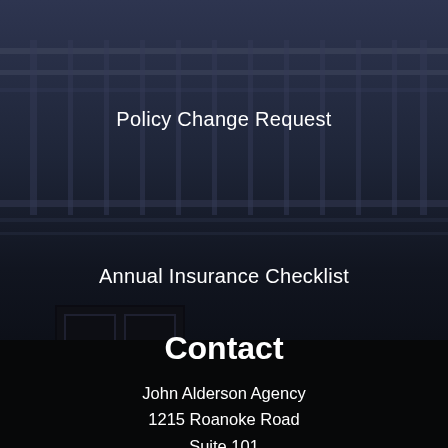[Figure (photo): Dark background photo of a building exterior with railings/balcony visible in the upper portion and a dark garage/door area in the lower portion]
Policy Change Request
Annual Insurance Checklist
Contact
John Alderson Agency
1215 Roanoke Road
Suite 101
Daleville, Virginia 24083
Phone: (540) 992-4800
Toll Free: (800) 992-2901
Mon-Fri: 9:00am-5:00pm